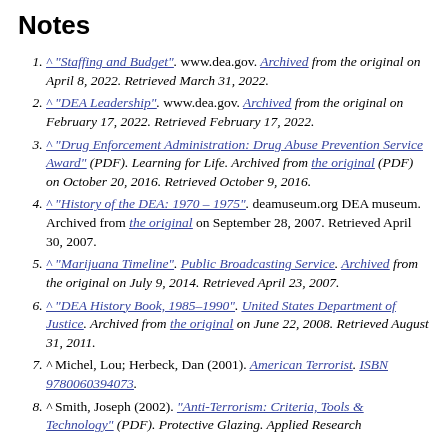Notes
^ "Staffing and Budget". www.dea.gov. Archived from the original on April 8, 2022. Retrieved March 31, 2022.
^ "DEA Leadership". www.dea.gov. Archived from the original on February 17, 2022. Retrieved February 17, 2022.
^ "Drug Enforcement Administration: Drug Abuse Prevention Service Award" (PDF). Learning for Life. Archived from the original (PDF) on October 20, 2016. Retrieved October 9, 2016.
^ "History of the DEA: 1970 – 1975". deamuseum.org DEA museum. Archived from the original on September 28, 2007. Retrieved April 30, 2007.
^ "Marijuana Timeline". Public Broadcasting Service. Archived from the original on July 9, 2014. Retrieved April 23, 2007.
^ "DEA History Book, 1985–1990". United States Department of Justice. Archived from the original on June 22, 2008. Retrieved August 31, 2011.
^ Michel, Lou; Herbeck, Dan (2001). American Terrorist. ISBN 9780060394073.
^ Smith, Joseph (2002). "Anti-Terrorism: Criteria, Tools & Technology" (PDF). Protective Glazing. Applied Research Associates. Archived from the original (PDF).